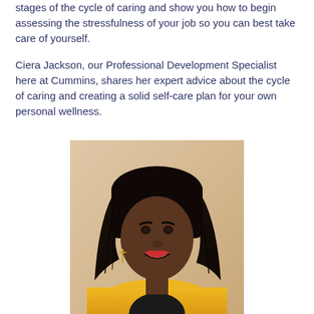stages of the cycle of caring and show you how to begin assessing the stressfulness of your job so you can best take care of yourself.
Ciera Jackson, our Professional Development Specialist here at Cummins, shares her expert advice about the cycle of caring and creating a solid self-care plan for your own personal wellness.
[Figure (photo): Portrait photo of Ciera Jackson, a woman with long dark hair, wearing a yellow blazer, smiling at the camera. She is wearing a cross earring. The background is a neutral beige/tan color.]